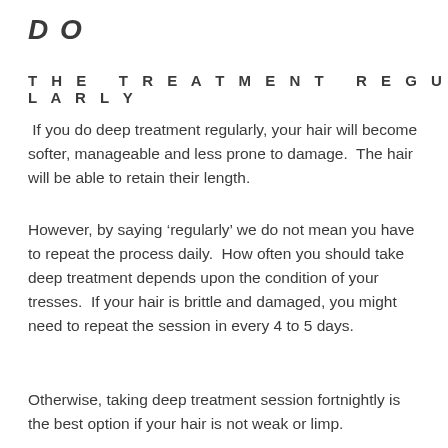DO
THE TREATMENT REGULARLY
If you do deep treatment regularly, your hair will become softer, manageable and less prone to damage. The hair will be able to retain their length.
However, by saying ‘regularly’ we do not mean you have to repeat the process daily.  How often you should take deep treatment depends upon the condition of your tresses.  If your hair is brittle and damaged, you might need to repeat the session in every 4 to 5 days.
Otherwise, taking deep treatment session fortnightly is the best option if your hair is not weak or limp.